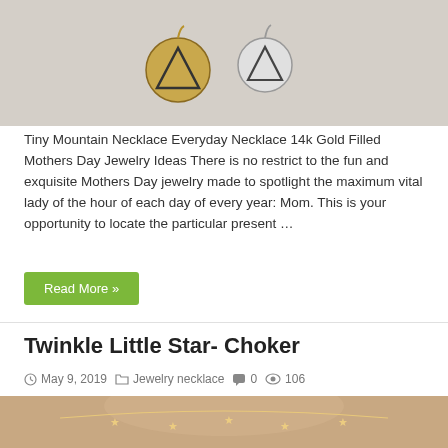[Figure (photo): Two small round pendant charms on a fabric background — one gold-toned and one silver-toned, each stamped with a mountain outline symbol.]
Tiny Mountain Necklace Everyday Necklace 14k Gold Filled Mothers Day Jewelry Ideas There is no restrict to the fun and exquisite Mothers Day jewelry made to spotlight the maximum vital lady of the hour of each day of every year: Mom. This is your opportunity to locate the particular present …
Read More »
Twinkle Little Star- Choker
May 9, 2019   Jewelry necklace   0   106
[Figure (photo): A woman wearing a delicate star charm choker necklace against her neck and collarbone.]